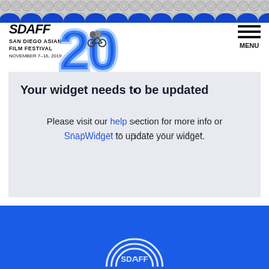[Figure (logo): San Diego Asian Film Festival logo with stylized 'SDAFF' text and '20' anniversary graphic featuring cyclists]
[Figure (logo): Hamburger menu icon with three horizontal lines and text 'MENU']
Your widget needs to be updated
Please visit our help section for more info or SnapWidget to update your widget.
[Figure (illustration): Blue footer area with partial circular logo/graphic at bottom center]